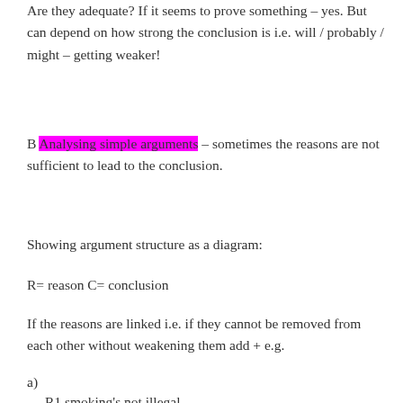Are they adequate? If it seems to prove something – yes. But can depend on how strong the conclusion is i.e. will / probably / might – getting weaker!
B Analysing simple arguments – sometimes the reasons are not sufficient to lead to the conclusion.
Showing argument structure as a diagram:
R= reason C= conclusion
If the reasons are linked i.e. if they cannot be removed from each other without weakening them add + e.g.
a)
R1 smoking's not illegal